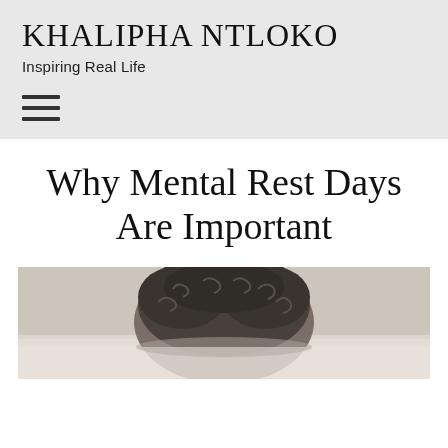KHALIPHA NTLOKO
Inspiring Real Life
[Figure (other): Hamburger navigation menu icon with three horizontal lines]
Why Mental Rest Days Are Important
[Figure (photo): A person lying down on a pillow with curly dark hair visible from above, photographed from overhead in muted tones]